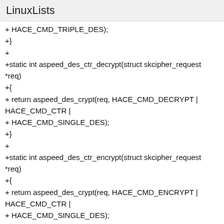LinuxLists
+ HACE_CMD_TRIPLE_DES);
+}
+
+static int aspeed_des_ctr_decrypt(struct skcipher_request
*req)
+{
+ return aspeed_des_crypt(req, HACE_CMD_DECRYPT |
HACE_CMD_CTR |
+ HACE_CMD_SINGLE_DES);
+}
+
+static int aspeed_des_ctr_encrypt(struct skcipher_request
*req)
+{
+ return aspeed_des_crypt(req, HACE_CMD_ENCRYPT |
HACE_CMD_CTR |
+ HACE_CMD_SINGLE_DES);